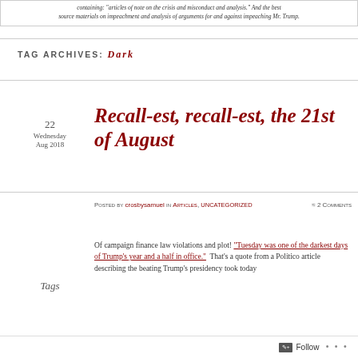containing: articles of note on the crisis and misconduct and analysis.” And the best source materials on impeachment and analysis of arguments for and against impeaching Mr. Trump.
TAG ARCHIVES: DARK
Recall-est, recall-est, the 21st of August
22 Wednesday Aug 2018
Posted by crosbysamuel in Articles, Uncategorized ≈ 2 Comments
Tags
Of campaign finance law violations and plot! “Tuesday was one of the darkest days of Trump’s year and a half in office.”  That’s a quote from a Politico article describing the beating Trump’s presidency took today